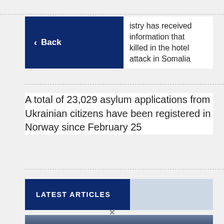[Figure (screenshot): Back navigation button (dark navy blue) overlapping article headline text on right: '...istry has received information that ...killed in the hotel attack in Somalia']
A total of 23,029 asylum applications from Ukrainian citizens have been registered in Norway since February 25
LATEST ARTICLES
[Figure (photo): Dark blue-grey sky/landscape photo at bottom of page]